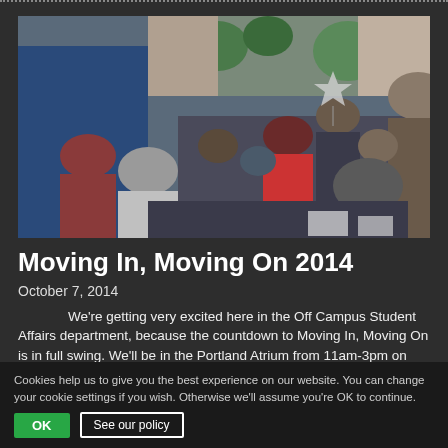[Figure (photo): Group of students gathered at an outdoor/indoor campus event, some talking, some eating, with a blue wall/display in the background and trees visible]
Moving In, Moving On 2014
October 7, 2014
We're getting very excited here in the Off Campus Student Affairs department, because the countdown to Moving In, Moving On is in full swing. We'll be in the Portland Atrium from 11am-3pm on Thursday 9th October along with representatives from a huge range of
Cookies help us to give you the best experience on our website. You can change your cookie settings if you wish. Otherwise we'll assume you're OK to continue.